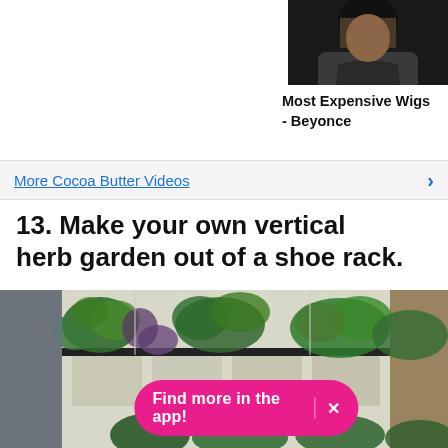[Figure (photo): Partial photo of a person with dark hair, cropped at top right corner of the page]
Most Expensive Wigs - Beyonce
More Cocoa Butter Videos >
13. Make your own vertical herb garden out of a shoe rack.
[Figure (photo): Photo of a vertical herb garden made from a fabric shoe rack hanging on a wooden fence/wall, with various green herbs growing in the pockets]
Find more in the app! X